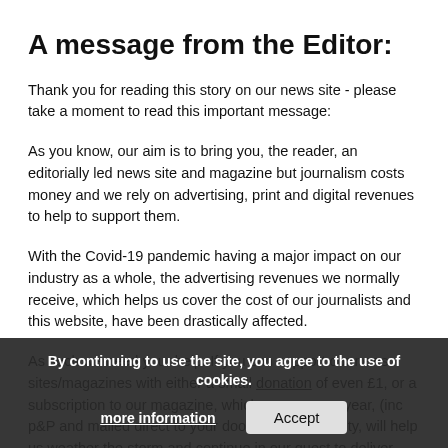A message from the Editor:
Thank you for reading this story on our news site - please take a moment to read this important message:
As you know, our aim is to bring you, the reader, an editorially led news site and magazine but journalism costs money and we rely on advertising, print and digital revenues to help to support them.
With the Covid-19 pandemic having a major impact on our industry as a whole, the advertising revenues we normally receive, which helps us cover the cost of our journalists and this website, have been drastically affected.
As such we need your help. If you can support our news sites/magazines with either a small donation of even £1, or a subscription to our magazine, which [...]  per year, (inc p&P and mailed direct to your door) your generosity, will help us weather the storm and continue in our quest to deliver quality journalism.
By continuing to use the site, you agree to the use of cookies. more information  Accept